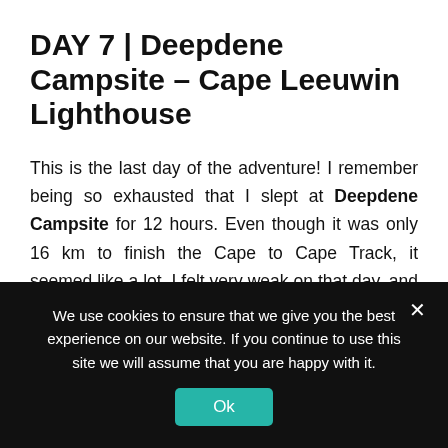DAY 7 | Deepdene Campsite – Cape Leeuwin Lighthouse
This is the last day of the adventure! I remember being so exhausted that I slept at Deepdene Campsite for 12 hours. Even though it was only 16 km to finish the Cape to Cape Track, it seemed like a lot. I felt very weak on that day, and hiked two times slower than usual. It's worth to say that this last section is poorly marked. I didn't notice a single sign. So I just walked towards Cape Leeuwin Lighthouse that appeared on the horizon halfway through. The Water Wheel is the official end of the Cape to Cape
We use cookies to ensure that we give you the best experience on our website. If you continue to use this site we will assume that you are happy with it.